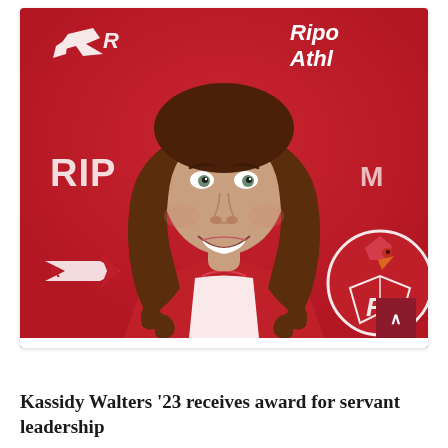[Figure (photo): Athletic headshot photo of Kassidy Walters against a red Ripon Athletics backdrop. A smiling young woman with long curly brown hair wearing a red jersey. Behind her is visible the Ripon College hawk logo and 'RIPON' text on the red background, along with 'Ripon Athletics' branding in the upper right corner.]
Kassidy Walters '23 receives award for servant leadership